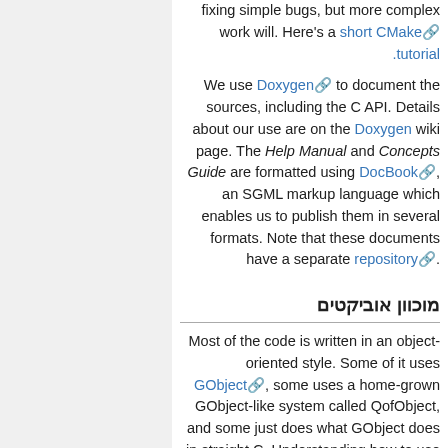fixing simple bugs, but more complex work will. Here's a short CMake .tutorial
We use Doxygen to document the sources, including the C API. Details about our use are on the Doxygen wiki page. The Help Manual and Concepts Guide are formatted using DocBook, an SGML markup language which enables us to publish them in several formats. Note that these documents have a separate repository.
מוכוון אוביקטים
Most of the code is written in an object-oriented style. Some of it uses GObject, some uses a home-grown GObject-like system called QofObject, and some just does what GObject does in straight C. Understanding how to use